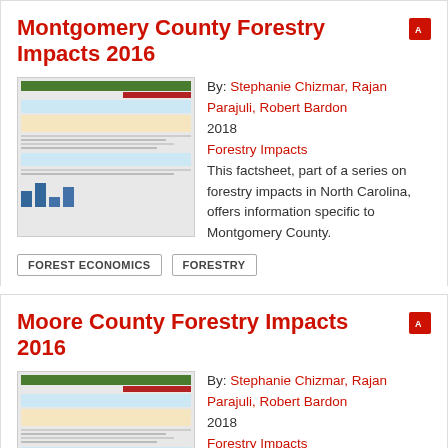Montgomery County Forestry Impacts 2016
By: Stephanie Chizmar, Rajan Parajuli, Robert Bardon
2018
Forestry Impacts
This factsheet, part of a series on forestry impacts in North Carolina, offers information specific to Montgomery County.
FOREST ECONOMICS
FORESTRY
Moore County Forestry Impacts 2016
By: Stephanie Chizmar, Rajan Parajuli, Robert Bardon
2018
Forestry Impacts
This factsheet, part of a series on forestry impacts in North Carolina, offers information specific to Moore County.